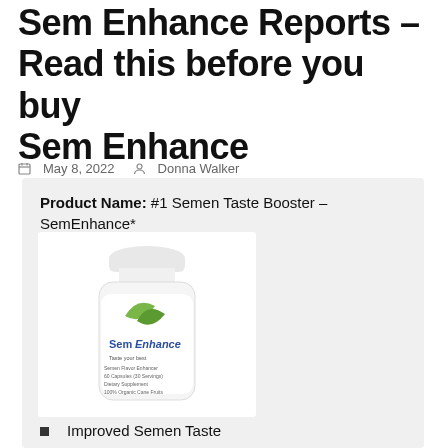Sem Enhance Reports – Read this before you buy Sem Enhance
May 8, 2022  Donna Walker
Product Name: #1 Semen Taste Booster – SemEnhance*
[Figure (photo): A white supplement bottle labeled SemEnhance with green leaf logo and text 'Semen Flavor Enhancer, Taste Your Best, 60 Capsules (30 Servings), Dietary Supplement, 100% Organic Cane Fruits']
Improved Semen Taste